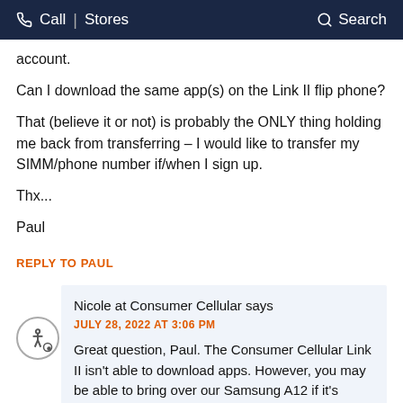Call | Stores   Search
account.
Can I download the same app(s) on the Link II flip phone?
That (believe it or not) is probably the ONLY thing holding me back from transferring – I would like to transfer my SIMM/phone number if/when I sign up.
Thx...
Paul
REPLY TO PAUL
Nicole at Consumer Cellular says
JULY 28, 2022 AT 3:06 PM
Great question, Paul. The Consumer Cellular Link II isn't able to download apps. However, you may be able to bring over our Samsung A12 if it's VoLTE-capable, unlocked, and GSM-compatible. If you have the phone's IMEI, you can check if it should be compatible at consumercelular.com.